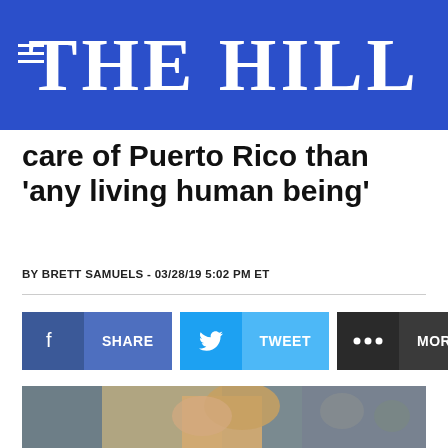THE HILL
care of Puerto Rico than 'any living human being'
BY BRETT SAMUELS - 03/28/19 5:02 PM ET
[Figure (other): Social sharing buttons: Facebook SHARE, Twitter TWEET, and MORE buttons]
[Figure (photo): Photo of Donald Trump surrounded by people in a room, Trump is in the center with blonde hair wearing a dark jacket]